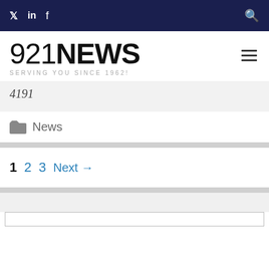921NEWS - SERVING YOU SINCE 1962!
921NEWS SERVING YOU SINCE 1962!
4191
News
1 2 3 Next →